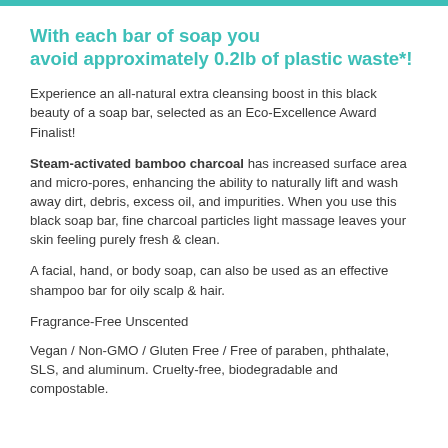With each bar of soap you avoid approximately 0.2lb of plastic waste*!
Experience an all-natural extra cleansing boost in this black beauty of a soap bar, selected as an Eco-Excellence Award Finalist!
Steam-activated bamboo charcoal has increased surface area and micro-pores, enhancing the ability to naturally lift and wash away dirt, debris, excess oil, and impurities. When you use this black soap bar, fine charcoal particles light massage leaves your skin feeling purely fresh & clean.
A facial, hand, or body soap, can also be used as an effective shampoo bar for oily scalp & hair.
Fragrance-Free Unscented
Vegan / Non-GMO / Gluten Free / Free of paraben, phthalate, SLS, and aluminum. Cruelty-free, biodegradable and compostable.